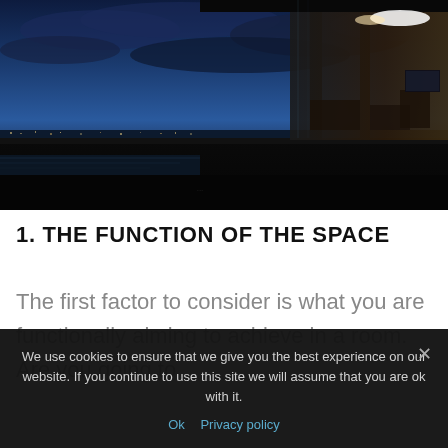[Figure (photo): Nighttime architectural photo of a modern luxury home with floor-to-ceiling glass walls, dark interior with warm lighting, and a dramatic twilight sky with clouds over a cityscape in the background.]
1. THE FUNCTION OF THE SPACE
The first factor to consider is what you are functionally aiming to achieve in a room. Are you going to
We use cookies to ensure that we give you the best experience on our website. If you continue to use this site we will assume that you are ok with it.
Ok  Privacy policy